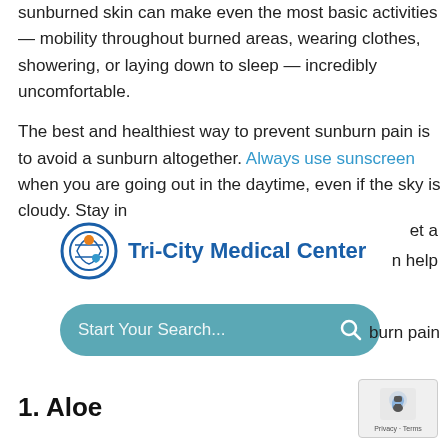sunburned skin can make even the most basic activities — mobility throughout burned areas, wearing clothes, showering, or laying down to sleep — incredibly uncomfortable.
The best and healthiest way to prevent sunburn pain is to avoid a sunburn altogether. Always use sunscreen when you are going out in the daytime, even if the sky is cloudy. Stay in
et a
[Figure (logo): Tri-City Medical Center logo with circular icon featuring a globe/person graphic and blue text reading 'Tri-City Medical Center']
n help
[Figure (screenshot): Search bar with teal/blue rounded rectangle shape, placeholder text 'Start Your Search...' and a search icon]
burn pain
1. Aloe
[Figure (logo): reCAPTCHA badge with robot icon and 'Privacy · Terms' text]